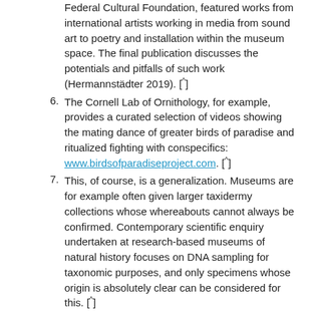Federal Cultural Foundation, featured works from international artists working in media from sound art to poetry and installation within the museum space. The final publication discusses the potentials and pitfalls of such work (Hermannstädter 2019). [^]
The Cornell Lab of Ornithology, for example, provides a curated selection of videos showing the mating dance of greater birds of paradise and ritualized fighting with conspecifics: www.birdsofparadiseproject.com. [^]
This, of course, is a generalization. Museums are for example often given larger taxidermy collections whose whereabouts cannot always be confirmed. Contemporary scientific enquiry undertaken at research-based museums of natural history focuses on DNA sampling for taxonomic purposes, and only specimens whose origin is absolutely clear can be considered for this. [^]
References